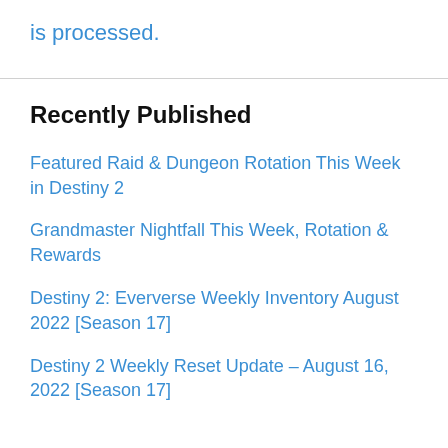is processed.
Recently Published
Featured Raid & Dungeon Rotation This Week in Destiny 2
Grandmaster Nightfall This Week, Rotation & Rewards
Destiny 2: Eververse Weekly Inventory August 2022 [Season 17]
Destiny 2 Weekly Reset Update – August 16, 2022 [Season 17]